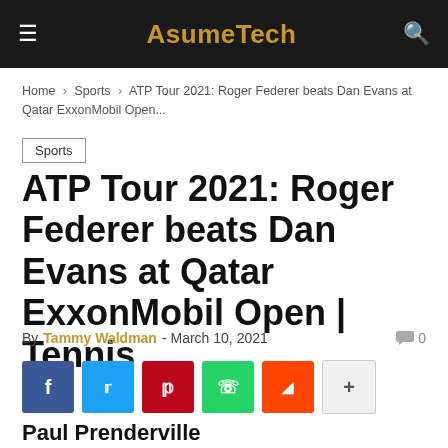AsumeTech
Home > Sports > ATP Tour 2021: Roger Federer beats Dan Evans at Qatar ExxonMobil Open...
Sports
ATP Tour 2021: Roger Federer beats Dan Evans at Qatar ExxonMobil Open | Tennis
By Tammy Waldman - March 10, 2021  0
[Figure (infographic): Social share buttons: Facebook, Twitter, Pinterest, WhatsApp, Reddit, and a more (+) button]
Paul Prenderville
Comment & Analysis @paulprenders